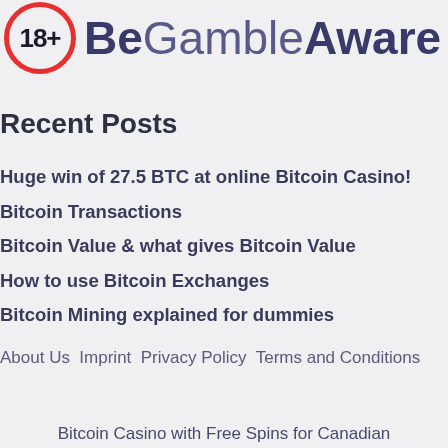[Figure (logo): 18+ badge circle with red border and BeGambleAware logo text in purple/grey]
Recent Posts
Huge win of 27.5 BTC at online Bitcoin Casino!
Bitcoin Transactions
Bitcoin Value & what gives Bitcoin Value
How to use Bitcoin Exchanges
Bitcoin Mining explained for dummies
About Us  Imprint  Privacy Policy  Terms and Conditions
Bitcoin Casino with Free Spins for Canadian